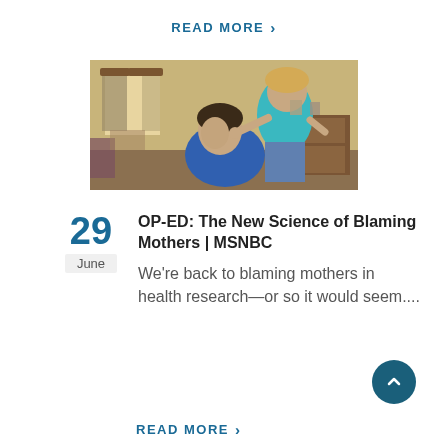READ MORE >
[Figure (photo): A mother standing over a teenage boy in a bedroom, pointing at him. The mother wears a teal top and jeans; the boy wears a blue shirt and looks downward.]
29
June
OP-ED: The New Science of Blaming Mothers | MSNBC
We're back to blaming mothers in health research—or so it would seem....
READ MORE >